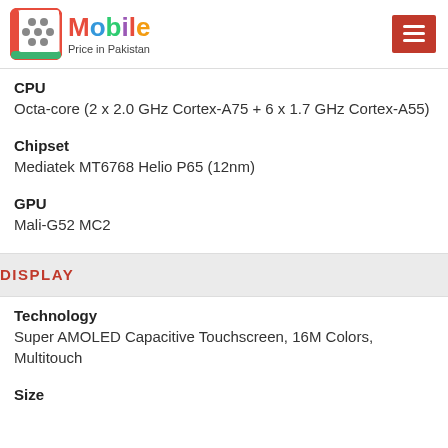Mobile Price in Pakistan
CPU
Octa-core (2 x 2.0 GHz Cortex-A75 + 6 x 1.7 GHz Cortex-A55)
Chipset
Mediatek MT6768 Helio P65 (12nm)
GPU
Mali-G52 MC2
DISPLAY
Technology
Super AMOLED Capacitive Touchscreen, 16M Colors, Multitouch
Size